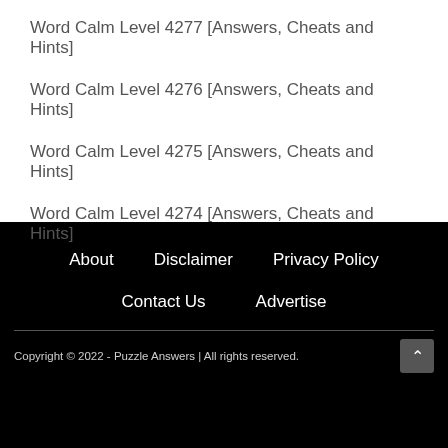Word Calm Level 4277 [Answers, Cheats and Hints]
Word Calm Level 4276 [Answers, Cheats and Hints]
Word Calm Level 4275 [Answers, Cheats and Hints]
Word Calm Level 4274 [Answers, Cheats and Hints]
About   Disclaimer   Privacy Policy   Contact Us   Advertise   Copyright © 2022 - Puzzle Answers | All rights reserved.